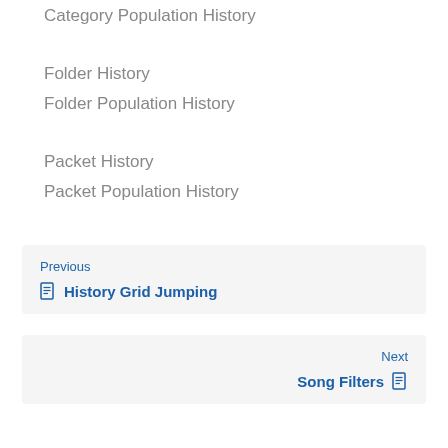Category Population History
Folder History
Folder Population History
Packet History
Packet Population History
Previous
History Grid Jumping
Next
Song Filters